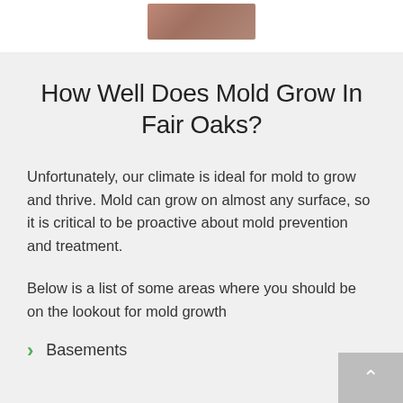[Figure (photo): Partial photo at top of page, cropped]
How Well Does Mold Grow In Fair Oaks?
Unfortunately, our climate is ideal for mold to grow and thrive. Mold can grow on almost any surface, so it is critical to be proactive about mold prevention and treatment.
Below is a list of some areas where you should be on the lookout for mold growth
Basements